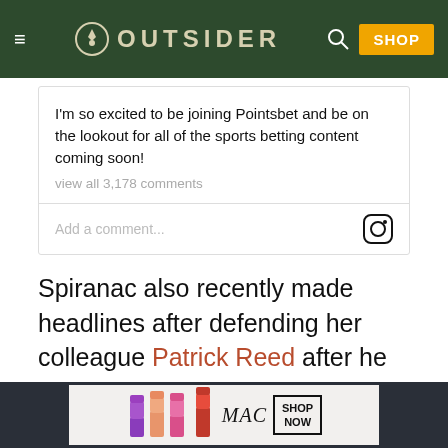OUTSIDER
I'm so excited to be joining Pointsbet and be on the lookout for all of the sports betting content coming soon!
view all 3,178 comments
Add a comment...
Spiranac also recently made headlines after defending her colleague Patrick Reed after he was accused of cheating.
Scroll to the next article
[Figure (screenshot): MAC cosmetics advertisement banner with lipsticks and SHOP NOW button]